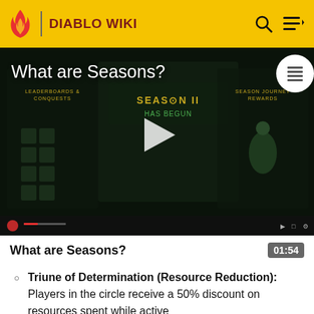DIABLO WIKI
[Figure (screenshot): Video thumbnail of a Diablo game screen showing Season II Has Begun with a play button overlay]
What are Seasons?
What are Seasons? 01:54
Triune of Determination (Resource Reduction): Players in the circle receive a 50% discount on resources spent while active
Triune of Creation (Cooldown Reduction):